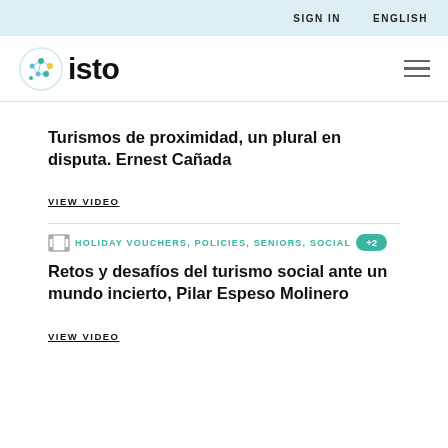SIGN IN   ENGLISH
[Figure (logo): ISTO logo with colorful network graphic and text 'isto']
Turismos de proximidad, un plural en disputa. Ernest Cañada
VIEW VIDEO
HOLIDAY VOUCHERS, POLICIES, SENIORS, SOCIAL +2
Retos y desafíos del turismo social ante un mundo incierto, Pilar Espeso Molinero
VIEW VIDEO